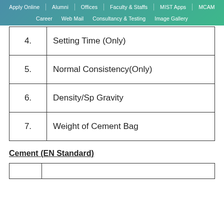Apply Online | Alumni | Offices | Faculty & Staffs | MIST Apps | MCAM | Career | Web Mail | Consultancy & Testing | Image Gallery
| No. | Description |
| --- | --- |
| 4. | Setting Time (Only) |
| 5. | Normal Consistency(Only) |
| 6. | Density/Sp Gravity |
| 7. | Weight of Cement Bag |
Cement (EN Standard)
|  |  |